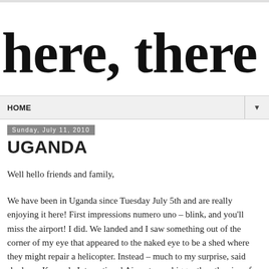here, there and everywhere
HOME ▼
Sunday, July 11, 2010
UGANDA
Well hello friends and family,
We have been in Uganda since Tuesday July 5th and are really enjoying it here! First impressions numero uno – blink, and you'll miss the airport! I did. We landed and I saw something out of the corner of my eye that appeared to the naked eye to be a shed where they might repair a helicopter. Instead – much to my surprise, said shed was Kampala International Airport – no bigger than the size of an average